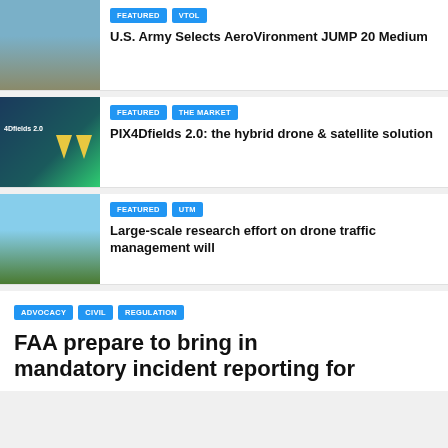[Figure (photo): Military personnel near aircraft on tarmac]
FEATURED | VTOL — U.S. Army Selects AeroVironment JUMP 20 Medium
[Figure (photo): PIX4Dfields 2.0 product interface with yellow shapes on dark background]
FEATURED | THE MARKET — PIX4Dfields 2.0: the hybrid drone & satellite solution
[Figure (photo): Person launching drone in a green field]
FEATURED | UTM — Large-scale research effort on drone traffic management will
ADVOCACY | CIVIL | REGULATION
FAA prepare to bring in mandatory incident reporting for